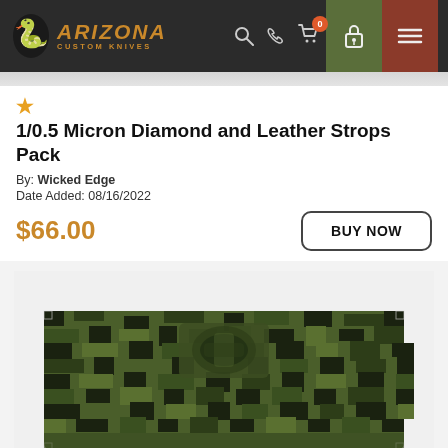Arizona Custom Knives — navigation header with logo, search, phone, cart (0), lock, and menu icons
★ 1/0.5 Micron Diamond and Leather Strops Pack
By: Wicked Edge
Date Added: 08/16/2022
$66.00
BUY NOW
[Figure (photo): A camouflage-patterned pouch or case with digital green/black camo fabric and a Velcro or strap closure, shown against a white background.]